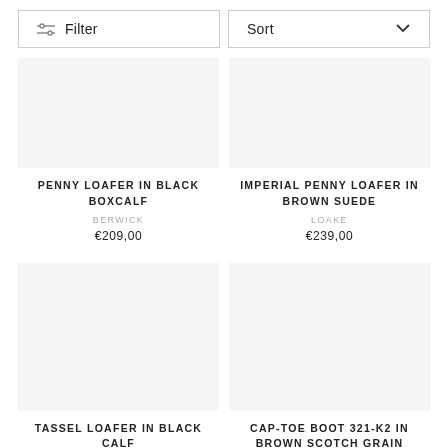Filter
Sort
PENNY LOAFER IN BLACK BOXCALF
BERWICK
€209,00
IMPERIAL PENNY LOAFER IN BROWN SUEDE
LOAKE
€239,00
TASSEL LOAFER IN BLACK CALF
CAP-TOE BOOT 321-K2 IN BROWN SCOTCH GRAIN